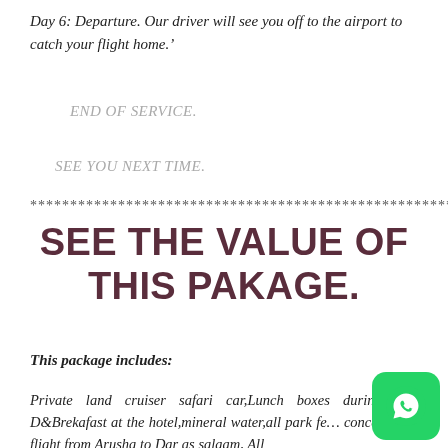Day 6: Departure. Our driver will see you off to the airport to catch your flight home.'
END OF SERVICE.
SEE YOU NEXT TIME.
************************************************************
SEE THE VALUE OF THIS PAKAGE.
This package includes:
Private land cruiser safari car,Lunch boxes during safaris, D&Brekafast at the hotel,mineral water,all park fees, concession fees, flight from Arusha to Dar as salaam, All